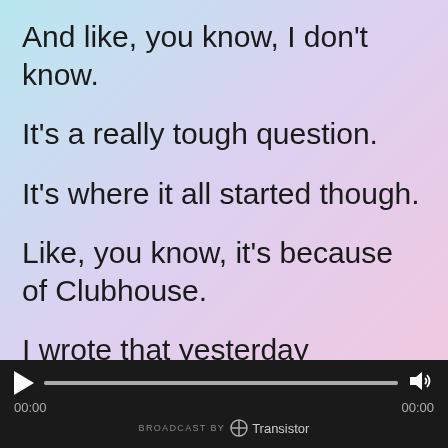And like, you know, I don't know.
It's a really tough question.
It's where it all started though.
Like, you know, it's because of Clubhouse.
I wrote that yesterday because it was my one year starting my first room where I had two listeners for six hours.
[Figure (other): Audio player bar with play button, progress bar, timestamps 00:00 and 00:00, volume icon, and Transistor broadcast branding]